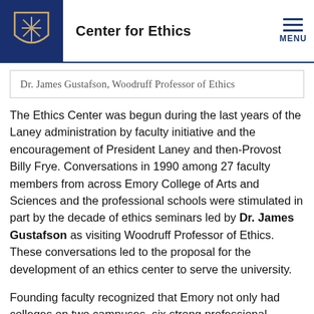Center for Ethics
Dr. James Gustafson, Woodruff Professor of Ethics
The Ethics Center was begun during the last years of the Laney administration by faculty initiative and the encouragement of President Laney and then-Provost Billy Frye. Conversations in 1990 among 27 faculty members from across Emory College of Arts and Sciences and the professional schools were stimulated in part by the decade of ethics seminars led by Dr. James Gustafson as visiting Woodruff Professor of Ethics. These conversations led to the proposal for the development of an ethics center to serve the university.
Founding faculty recognized that Emory not only had colleges on two campuses, six strong professional